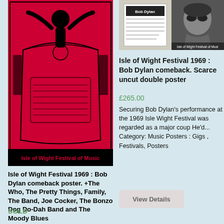[Figure (photo): Red and black Isle of Wight Festival of Music concert poster with figure raising arms at top and ornate decorative framing]
Isle of Wight Festival 1969 : Bob Dylan comeback poster. +The Who, The Pretty Things, Family, The Band, Joe Cocker, The Bonzo Dog Do-Dah Band and The Moody Blues
SOLD
[Figure (photo): Two black and white photographs: left shows a Bob Dylan concert programme/flyer, right shows a close-up portrait of Bob Dylan with sunglasses]
Isle of Wight Festival 1969 : Bob Dylan comeback. Scarce uncut double poster
£265.00
Securing Bob Dylan's performance at the 1969 Isle Wight Festival was regarded as a major coup He'd... Category: Music Posters : Gigs , Festivals, Posters
View Details